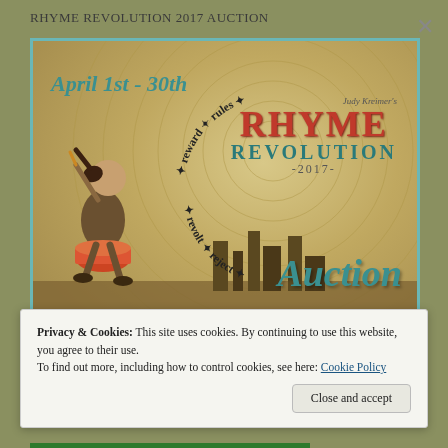RHYME REVOLUTION 2017 AUCTION
[Figure (illustration): Rhyme Revolution 2017 Auction promotional banner image. Features April 1st - 30th text in teal italic, a child drummer figure in vintage style, circular text with words 'reward', 'rules', 'revolt', 'reject', large red 'RHYME' and teal 'REVOLUTION' text, '-2017-', large teal italic 'Auction' text, and URL '32auctions.com/RhymeRevolution' at bottom. Sepia/tan background with radial swirl pattern.]
Privacy & Cookies: This site uses cookies. By continuing to use this website, you agree to their use.
To find out more, including how to control cookies, see here: Cookie Policy